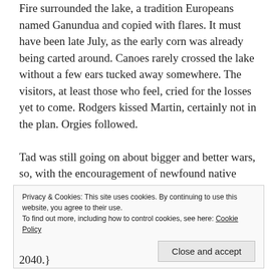Fire surrounded the lake, a tradition Europeans named Ganundua and copied with flares. It must have been late July, as the early corn was already being carted around. Canoes rarely crossed the lake without a few ears tucked away somewhere. The visitors, at least those who feel, cried for the losses yet to come. Rodgers kissed Martin, certainly not in the plan. Orgies followed. Tad was still going on about bigger and better wars, so, with the encouragement of newfound native alliances, Jack popped him one in the nose. (Thus ends the war argument for this paragraph.) Tad reveled in the story he could tell fraternity mates.
Privacy & Cookies: This site uses cookies. By continuing to use this website, you agree to their use.
To find out more, including how to control cookies, see here: Cookie Policy
2040.}